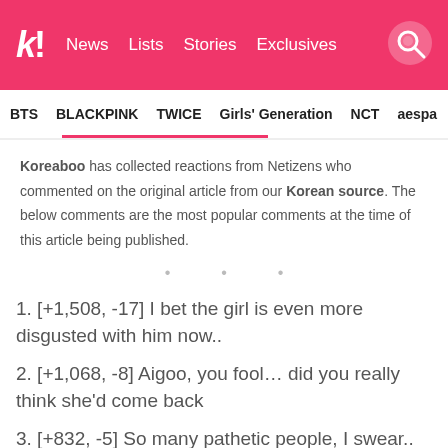Koreaboo | News | Lists | Stories | Exclusives
BTS | BLACKPINK | TWICE | Girls' Generation | NCT | aespa
Koreaboo has collected reactions from Netizens who commented on the original article from our Korean source. The below comments are the most popular comments at the time of this article being published.
1. [+1,508, -17] I bet the girl is even more disgusted with him now..
2. [+1,068, -8] Aigoo, you fool… did you really think she'd come back
3. [+832, -5] So many pathetic people, I swear..